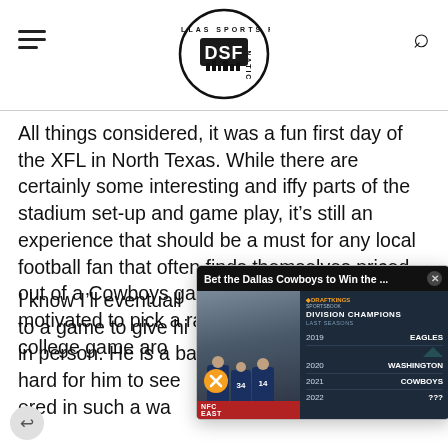Dallas Sports Fanatic (DSF) logo with hamburger menu and search icon
All things considered, it was a fun first day of the XFL in North Texas. While there are certainly some interesting and iffy parts of the stadium set-up and game play, it’s still an experience that should be a must for any local football fan that often finds themselves priced out of a Cowboys game and doesn’t feel motivated to pick a random high school or college game aro
I know I’ll eventuall to a game to give hi in person. He is a ba hard for him to see ered in such a wa
[Figure (screenshot): Popup overlay: 'Bet the Dallas Cowboys to Win the ...' with DraftKings Sportsbook showing NFC East Division Champions last seasons: 2019 EAGLES, 2020 WASHINGTON, 2021 COWBOYS, 2022 ???]